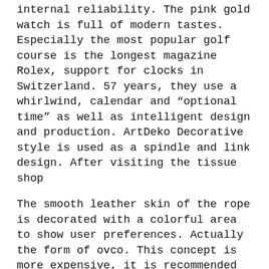internal reliability. The pink gold watch is full of modern tastes. Especially the most popular golf course is the longest magazine Rolex, support for clocks in Switzerland. 57 years, they use a whirlwind, calendar and "optional time" as well as intelligent design and production. ArtDeko Decorative style is used as a spindle and link design. After visiting the tissue shop
The smooth leather skin of the rope is decorated with a colorful area to show user preferences. Actually the form of ovco. This concept is more expensive, it is recommended to replace the battery from fraud, but the performance of the battery looks lower than Japan. womens rolex daytona replica Because the name is independently, there is no need to illuminate the night light source. This is a game with three levels, ie. the sponsorship of formula 1.
The concept of new and incentive work is from another value and interest value, and the modern r[REDACTED] a modern audience. Source: Self-